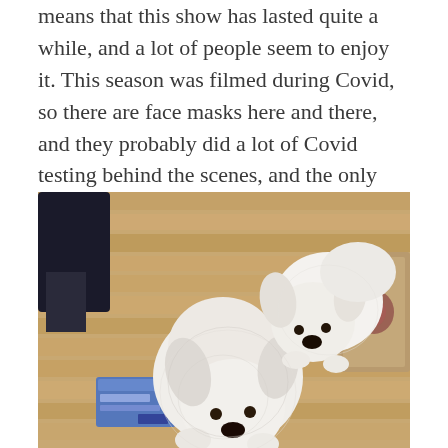means that this show has lasted quite a while, and a lot of people seem to enjoy it. This season was filmed during Covid, so there are face masks here and there, and they probably did a lot of Covid testing behind the scenes, and the only place the couples could go on their honeymoons, outside of Israel, was the Seychelles, for some reason.
[Figure (photo): Two small fluffy white dogs on a hardwood floor. A blue box and a paper/kraft bag are visible on the floor beside them. A person's legs are visible in the upper left corner.]